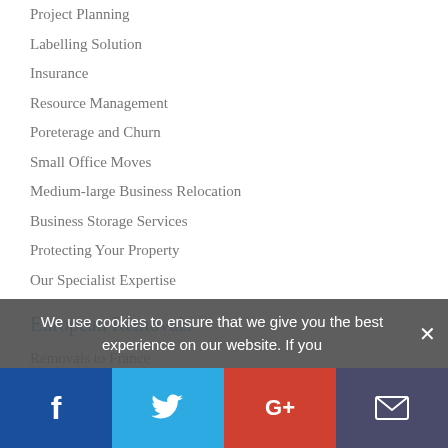Project Planning
Labelling Solution
Insurance
Resource Management
Poreterage and Churn
Small Office Moves
Medium-large Business Relocation
Business Storage Services
Protecting Your Property
Our Specialist Expertise
European Removals
Removals to France
Removals to Spain
Removals to Germany
Removals to Ireland
Removals to Portugal
Removals to Cyprus
We use cookies to ensure that we give you the best experience on our website. If you